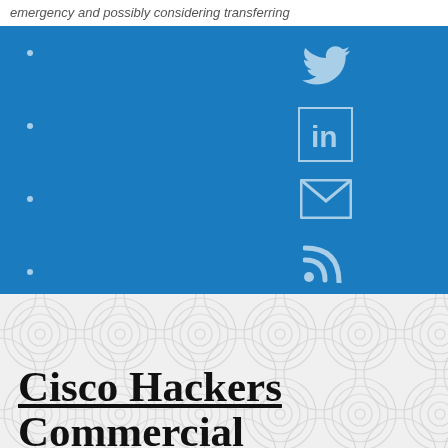emergency and possibly considering transferring
[Figure (infographic): Blue social sharing panel with bullet points on left and social media icons on right: Twitter bird icon, LinkedIn 'in' icon, email envelope icon, RSS feed icon]
Cisco Hackers Commercial
[Figure (photo): Thumbnail photo of a person at the bottom left of the page]